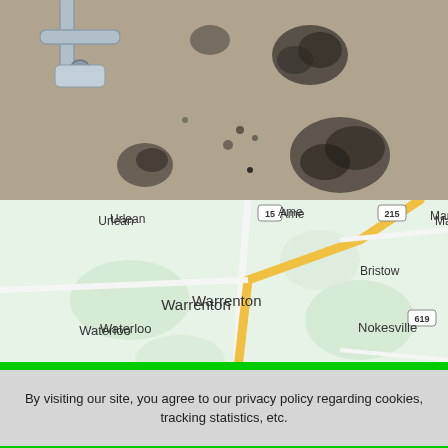[Figure (photo): Close-up photo of carpet or concrete surface with dark mold or dirt spots, with a metal bracket/hardware visible in upper-left area]
[Figure (map): Google Maps screenshot showing Warrenton, Virginia area with surrounding towns: Urlean, Ame, Warrenton, Waterloo, Nokesville, Bristow, Catlett, Jeffersonton, missville, Mana. Roads and route markers visible including 15, 215, 619.]
By visiting our site, you agree to our privacy policy regarding cookies, tracking statistics, etc.
Call Now